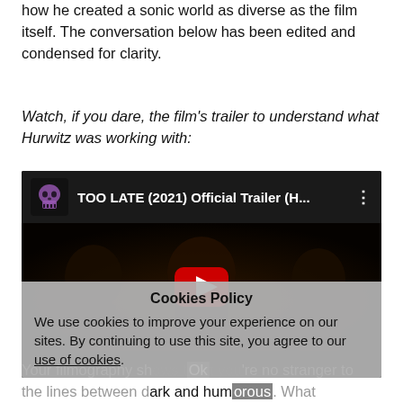how he created a sonic world as diverse as the film itself. The conversation below has been edited and condensed for clarity.
Watch, if you dare, the film's trailer to understand what Hurwitz was working with:
[Figure (screenshot): Embedded YouTube video thumbnail for 'TOO LATE (2021) Official Trailer (H...' showing dark figures with a red play button in the center, and a cookies policy overlay at the bottom reading: 'Cookies Policy. We use cookies to improve your experience on our sites. By continuing to use this site, you agree to our use of cookies.' with an OK button partially visible.]
Your filmography shows that you're no stranger to the lines between dark and humorous. What